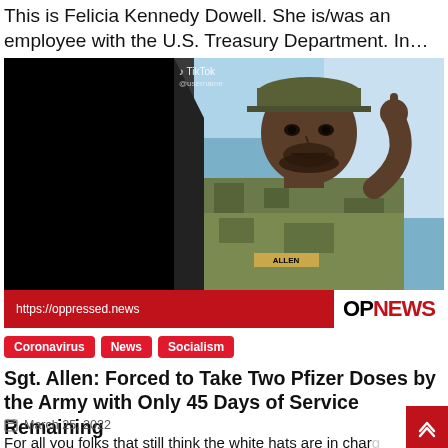This is Felicia Kennedy Dowell. She is/was an employee with the U.S. Treasury Department. In…
[Figure (screenshot): Screenshot of a TikTok video showing a man in military camouflage uniform and cap inside a vehicle, with a red lower-third banner showing 'https://oppressed.news' and 'OPNEWS' logo]
Coronavirus
News
Socialism
Sgt. Allen: Forced to Take Two Pfizer Doses by the Army with Only 45 Days of Service Remaining
March 25, 2022
For all you folks that still think the white hats are in charge of the…